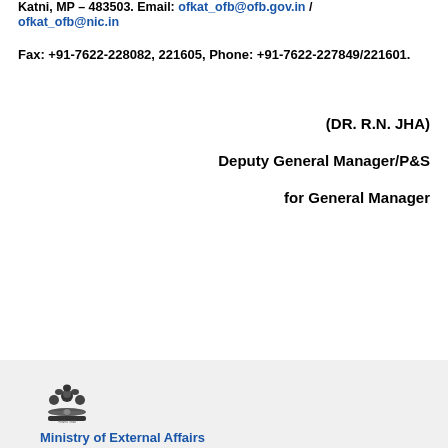Katni, MP – 483503. Email: ofkat_ofb@ofb.gov.in / ofkat_ofb@nic.in
Fax: +91-7622-228082, 221605, Phone: +91-7622-227849/221601.
(DR. R.N. JHA)
Deputy General Manager/P&S
for General Manager
[Figure (illustration): Ashoka Emblem / Satyamev Jayate - Indian national emblem in black and white]
Ministry of External Affairs